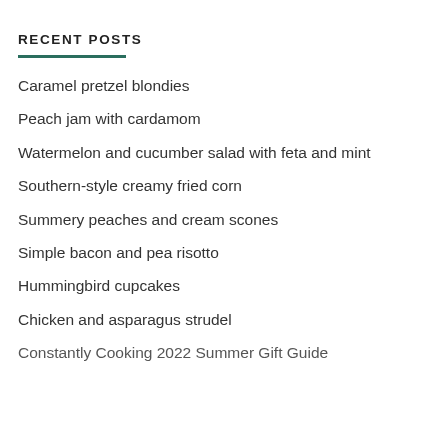RECENT POSTS
Caramel pretzel blondies
Peach jam with cardamom
Watermelon and cucumber salad with feta and mint
Southern-style creamy fried corn
Summery peaches and cream scones
Simple bacon and pea risotto
Hummingbird cupcakes
Chicken and asparagus strudel
Constantly Cooking 2022 Summer Gift Guide